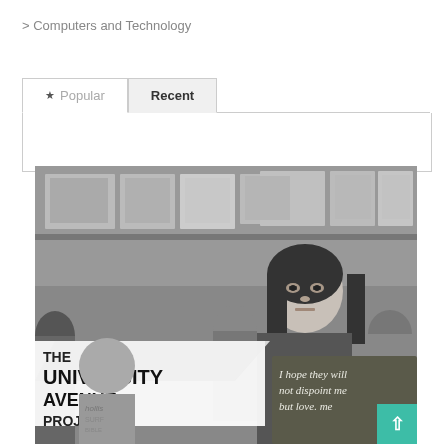> Computers and Technology
Popular  Recent
[Figure (photo): Black and white photo of students. A young woman holds a handwritten sign reading 'I hope they will not dispoint me but love me'. In the foreground is a sign reading 'THE UNIVERSITY AVENUE PROJECT'. Other students are visible in the background.]